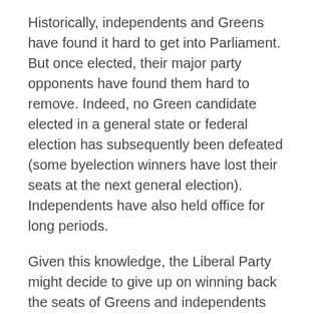Historically, independents and Greens have found it hard to get into Parliament. But once elected, their major party opponents have found them hard to remove. Indeed, no Green candidate elected in a general state or federal election has subsequently been defeated (some byelection winners have lost their seats at the next general election). Independents have also held office for long periods.
Given this knowledge, the Liberal Party might decide to give up on winning back the seats of Greens and independents and focus on its conservative base in the hope that the inevitable difficulties of government will produce a swing away from Labor. But this would be a desperate strategy. Based on results so far, achieving a Liberal majority solely by winning seats now held by Labor would require a